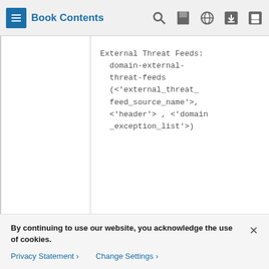Book Contents
External Threat Feeds: domain-external-threat-feeds (<'external_threat_feed_source_name'>, <'header'> , <'domain_exception_list'>)
Each message injected into the email gateway is processed through all message filters in order, unless you specify a final action, which stops the message from being processed further. (See Message Filter Actions.) Filters may also apply to all
By continuing to use our website, you acknowledge the use of cookies.
Privacy Statement > Change Settings >